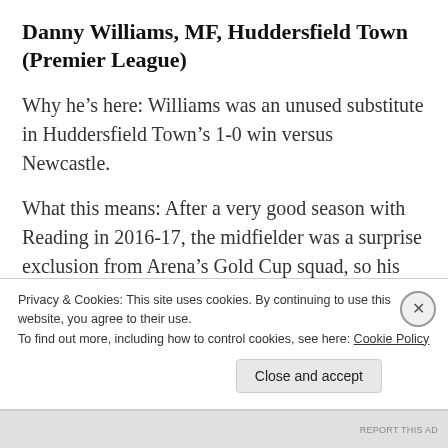Danny Williams, MF, Huddersfield Town (Premier League)
Why he’s here: Williams was an unused substitute in Huddersfield Town’s 1-0 win versus Newcastle.
What this means: After a very good season with Reading in 2016-17, the midfielder was a surprise exclusion from Arena’s Gold Cup squad, so his chances of a call for the September qualifiers are already slim. Add to
Privacy & Cookies: This site uses cookies. By continuing to use this website, you agree to their use.
To find out more, including how to control cookies, see here: Cookie Policy
Close and accept